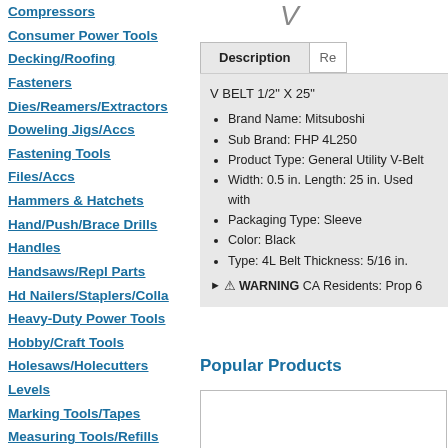Compressors
Consumer Power Tools
Decking/Roofing Fasteners
Dies/Reamers/Extractors
Doweling Jigs/Accs
Fastening Tools
Files/Accs
Hammers & Hatchets
Hand/Push/Brace Drills
Handles
Handsaws/Repl Parts
Hd Nailers/Staplers/Colla
Heavy-Duty Power Tools
Hobby/Craft Tools
Holesaws/Holecutters
Levels
Marking Tools/Tapes
Measuring Tools/Refills
Mitre Boxes/Accs
Nail Sets/Awls/Accs
V BELT 1/2" X 25"
• Brand Name: Mitsuboshi
• Sub Brand: FHP 4L250
• Product Type: General Utility V-Belt
• Width: 0.5 in. Length: 25 in. Used with
• Packaging Type: Sleeve
• Color: Black
• Type: 4L Belt Thickness: 5/16 in.
► ⚠ WARNING CA Residents: Prop 6
Popular Products